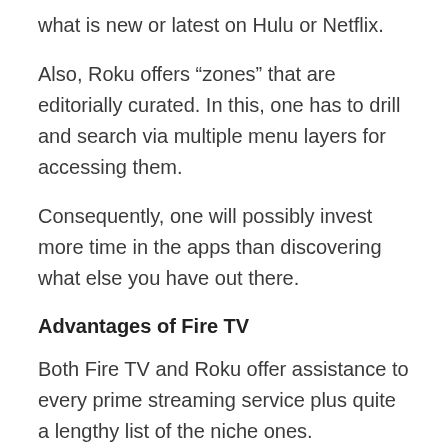what is new or latest on Hulu or Netflix.
Also, Roku offers “zones” that are editorially curated. In this, one has to drill and search via multiple menu layers for accessing them.
Consequently, one will possibly invest more time in the apps than discovering what else you have out there.
Advantages of Fire TV
Both Fire TV and Roku offer assistance to every prime streaming service plus quite a lengthy list of the niche ones.